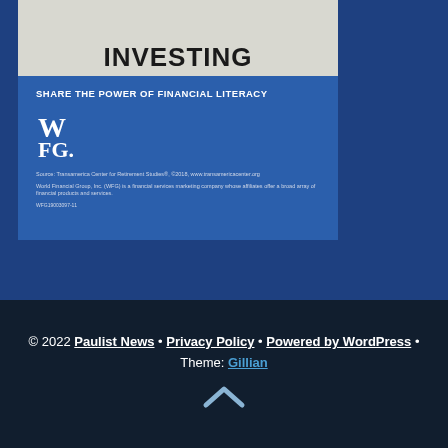[Figure (illustration): Partial view of a WFG retirement investing brochure cover showing 'INVESTING' in bold dark letters on a light background, followed by a blue section with 'SHARE THE POWER OF FINANCIAL LITERACY', a WFG logo, source attribution to Transamerica Center for Retirement Studies 2018, a disclaimer about World Financial Group Inc., and a product code WFG19003097-11.]
Source: Transamerica Center for Retirement Studies®, ©2018, www.transamericacenter.org
World Financial Group, Inc. (WFG) is a financial services marketing company whose affiliates offer a broad array of financial products and services.
WFG19003097-11
© 2022 Paulist News • Privacy Policy • Powered by WordPress • Theme: Gillian